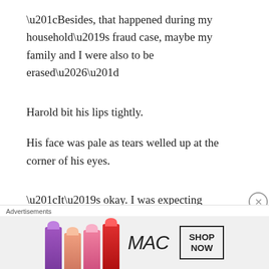“Besides, that happened during my household’s fraud case, maybe my family and I were also to be erased…”
Harold bit his lips tightly.
His face was pale as tears welled up at the corner of his eyes.
“It’s okay. I was expecting something to happen
Advertisements
[Figure (photo): MAC cosmetics advertisement banner showing colorful lipsticks and MAC logo with SHOP NOW button]